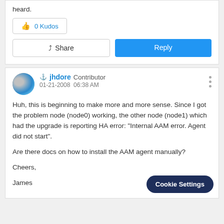heard.
0 Kudos
Share
Reply
jhdore  Contributor  01-21-2008  06:38 AM
Huh, this is beginning to make more and more sense. Since I got the problem node (node0) working, the other node (node1) which had the upgrade is reporting HA error: "Internal AAM error. Agent did not start".
Are there docs on how to install the AAM agent manually?
Cheers,
James
Cookie Settings